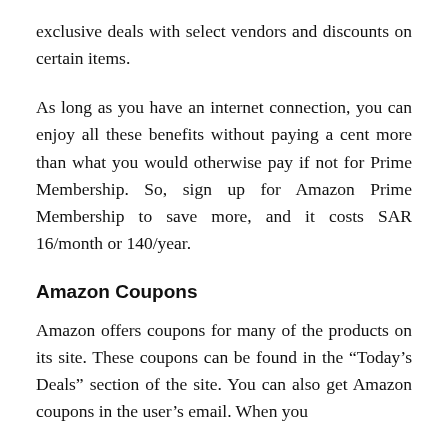exclusive deals with select vendors and discounts on certain items.
As long as you have an internet connection, you can enjoy all these benefits without paying a cent more than what you would otherwise pay if not for Prime Membership. So, sign up for Amazon Prime Membership to save more, and it costs SAR 16/month or 140/year.
Amazon Coupons
Amazon offers coupons for many of the products on its site. These coupons can be found in the “Today’s Deals” section of the site. You can also get Amazon coupons in the user’s email. When you